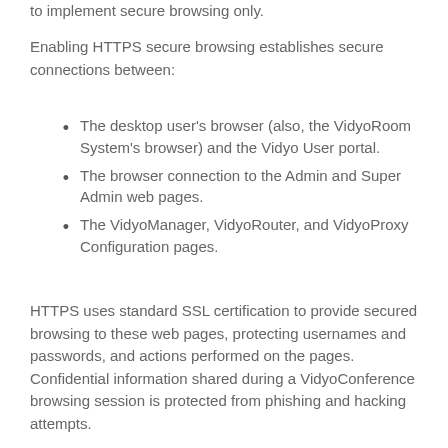to implement secure browsing only.
Enabling HTTPS secure browsing establishes secure connections between:
The desktop user's browser (also, the VidyoRoom System's browser) and the Vidyo User portal.
The browser connection to the Admin and Super Admin web pages.
The VidyoManager, VidyoRouter, and VidyoProxy Configuration pages.
HTTPS uses standard SSL certification to provide secured browsing to these web pages, protecting usernames and passwords, and actions performed on the pages. Confidential information shared during a VidyoConference browsing session is protected from phishing and hacking attempts.